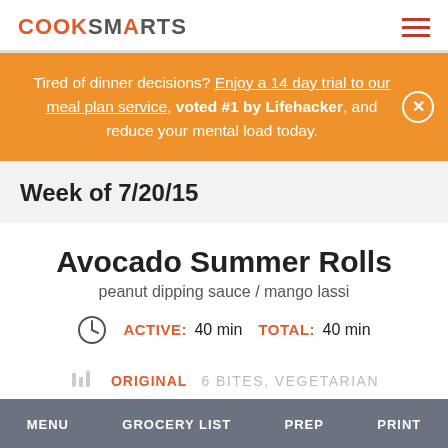COOKSMARTS
Tired of dinner decisions? Enjoy a 14 day trial to our meal plan service, voted #1 by Lifehacker, and reduce your mental load today.
Week of 7/20/15
Avocado Summer Rolls
peanut dipping sauce / mango lassi
ACTIVE: 40 min   TOTAL: 40 min
MENU   GROCERY LIST   PREP   PRINT